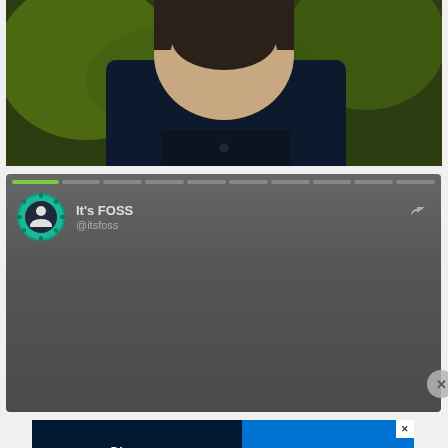[Figure (photo): Partial photo of a person wearing a dark navy jacket, face partially visible at top, against a green/yellow bokeh background]
[Figure (screenshot): Twitter/social media story card for It's FOSS (@itsfoss) with dark gray background, progress bar at top, profile avatar with teal/green gear-like border, display name 'It's FOSS', handle '@itsfoss', and a share icon. Gray content area below.]
[Figure (screenshot): Disney Bundle advertisement showing Hulu, Disney+, and ESPN+ logos on dark background with blue CTA button 'GET THE DISNEY BUNDLE'. Footer text: Incl. Hulu (ad-supported) or Hulu (No Ads). Access content from each service separately. ©2021 Disney and its related entities]